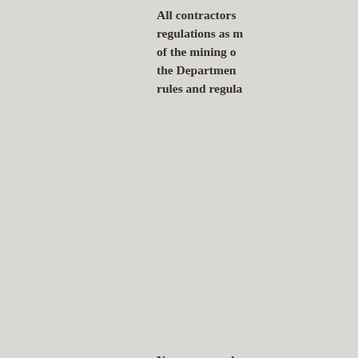All contractors shall comply with and be governed by such rules and regulations as may be prescribed by the manager of the mining operations for the protection of life and property, the Department of Labor and Employment rules and regula...
No person unde... and no person u...
All mining and... least one (1) li... operations, and...
The regional ...